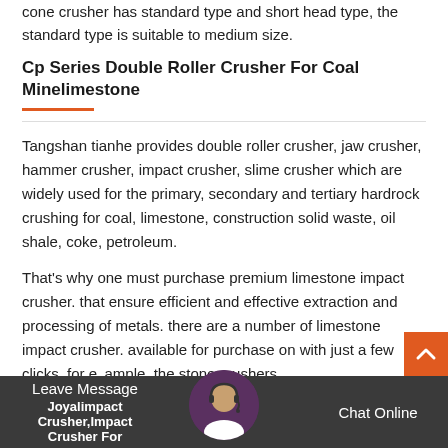cone crusher has standard type and short head type, the standard type is suitable to medium size.
Cp Series Double Roller Crusher For Coal Minelimestone
Tangshan tianhe provides double roller crusher, jaw crusher, hammer crusher, impact crusher, slime crusher which are widely used for the primary, secondary and tertiary hardrock crushing for coal, limestone, construction solid waste, oil shale, coke, petroleum.
That's why one must purchase premium limestone impact crusher. that ensure efficient and effective extraction and processing of metals. there are a number of limestone impact crusher. available for purchase on with just a few clicks. for example, the stone crushers used for crushing stones and rocks fed into it.
Leave Message   Chat Online   Joyalimpact Crusher,Impact Crusher For